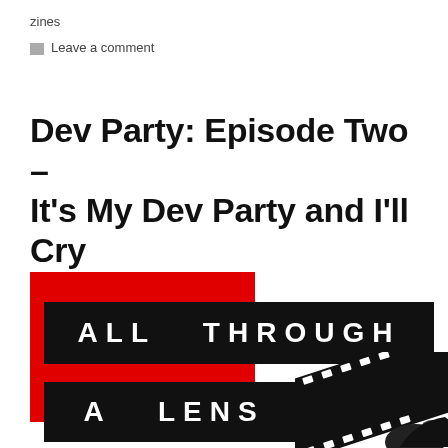zines
Leave a comment
Dev Party: Episode Two – It's My Dev Party and I'll Cry If I Want To
[Figure (logo): Logo for 'All Through A Lens' zine — red background square with two black horizontal banner bars containing white bold text 'ALL THROUGH' and 'A LENS', with a film strip and silhouette in the lower right.]